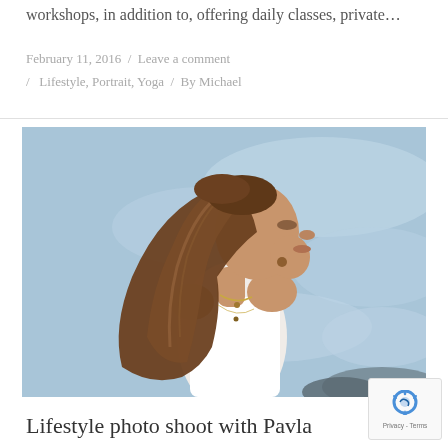workshops, in addition to, offering daily classes, private…
February 11, 2016 / Leave a comment / Lifestyle, Portrait, Yoga / By Michael
[Figure (photo): A woman with long brown hair wearing a white tank top, photographed in profile against a blue ocean/water background. She is wearing a necklace and appears to be outdoors near the sea.]
Lifestyle photo shoot with Pavla